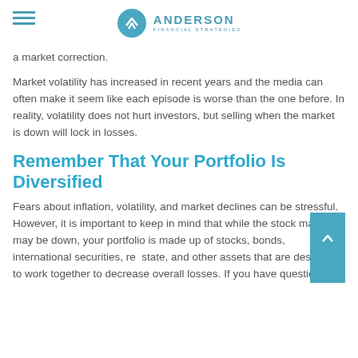Anderson Financial Strategies
a market correction.
Market volatility has increased in recent years and the media can often make it seem like each episode is worse than the one before. In reality, volatility does not hurt investors, but selling when the market is down will lock in losses.
Remember That Your Portfolio Is Diversified
Fears about inflation, volatility, and market declines can be stressful. However, it is important to keep in mind that while the stock market may be down, your portfolio is made up of stocks, bonds, international securities, real estate, and other assets that are designed to work together to decrease overall losses. If you have questions